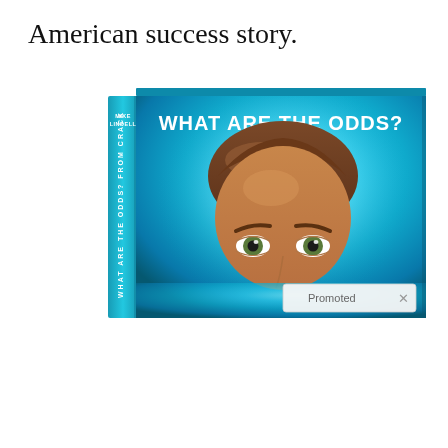American success story.
[Figure (photo): Book cover and spine for 'What Are the Odds?' by Mike Lindell. The book has a bright teal/blue cover with bold white title text 'WHAT ARE THE ODDS?' at the top. A man's face (from the forehead to below the eyes) is visible on the cover. The spine shows the author name 'MIKE LINDELL' and partial title text. A 'Promoted ×' badge appears in the lower right of the image.]
Promoted ×